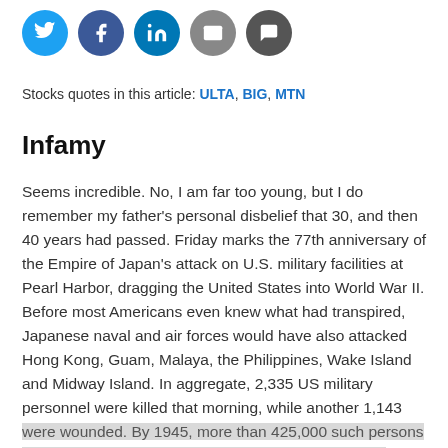[Figure (other): Social media sharing icons: Twitter (blue), Facebook (dark blue), LinkedIn (blue), Email (grey), Comment (dark grey)]
Stocks quotes in this article: ULTA, BIG, MTN
Infamy
Seems incredible. No, I am far too young, but I do remember my father's personal disbelief that 30, and then 40 years had passed. Friday marks the 77th anniversary of the Empire of Japan's attack on U.S. military facilities at Pearl Harbor, dragging the United States into World War II. Before most Americans even knew what had transpired, Japanese naval and air forces would have also attacked Hong Kong, Guam, Malaya, the Philippines, Wake Island and Midway Island. In aggregate, 2,335 US military personnel were killed that morning, while another 1,143 were wounded. By 1945, more than 425,000 such persons would become casualties in the Pacific theater alone.